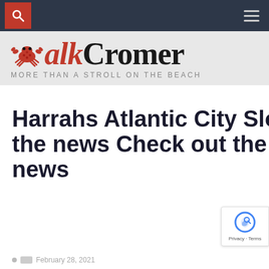WalkCromer – MORE THAN A STROLL ON THE BEACH
Harrahs Atlantic City Slot Machines 2021 | All the news Check out the latest online casino news
February 28, 2021